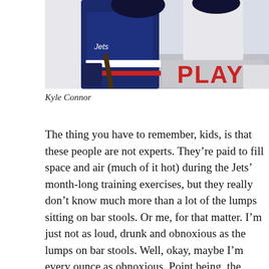[Figure (photo): Hockey player wearing a Winnipeg Jets jersey, partially cropped action shot with another player visible. Red text partially visible reading 'PLAY' in background.]
Kyle Connor
The thing you have to remember, kids, is that these people are not experts. They’re paid to fill space and air (much of it hot) during the Jets’ month-long training exercises, but they really don’t know much more than a lot of the lumps sitting on bar stools. Or me, for that matter. I’m just not as loud, drunk and obnoxious as the lumps on bar stools. Well, okay, maybe I’m every ounce as obnoxious. Point being, the basic difference between news snoops and the rabble is this: They get to ask players, coaches, etc. dumb questions and we don’t.